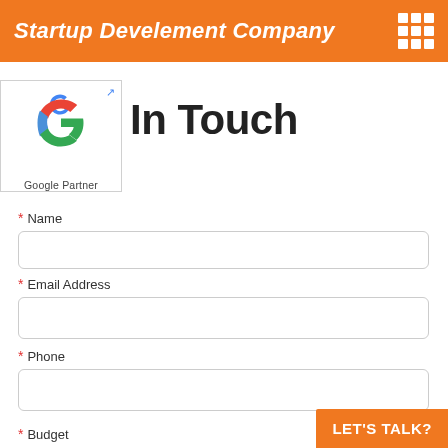Startup Develement Company
[Figure (logo): Google Partner badge with Google G logo and 'Google Partner' text, with an external link icon in the top right corner]
Get In Touch
* Name
* Email Address
* Phone
* Budget
LET'S TALK?